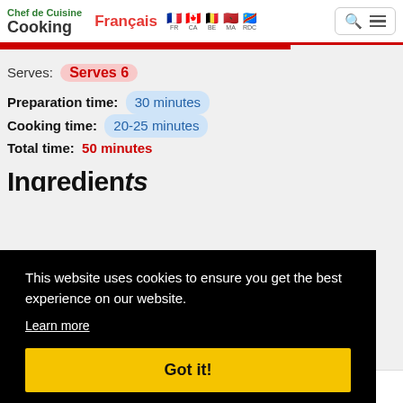Chef de Cuisine Cooking — Français FR CA BE MA RDC
Serves: Serves 6
Preparation time: 30 minutes
Cooking time: 20-25 minutes
Total time: 50 minutes
Ingredients (partial)
This website uses cookies to ensure you get the best experience on our website.
Learn more
Got it!
1 cup heavy cream